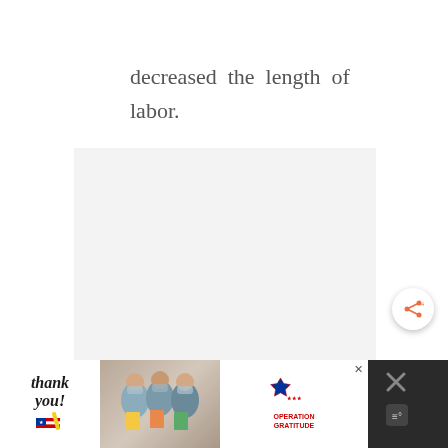decreased the length of labor.
[Figure (photo): A light gray rectangular image placeholder area, mostly blank/white-gray, possibly a partially loaded or obscured image.]
[Figure (infographic): A share/social media button icon (orange share icon with plus sign) in a white circular button with shadow.]
[Figure (photo): Advertisement bar at bottom of page on dark background. Contains: 'Thank you!' text with American flag pencil graphic on white background; photo of three medical workers in scrubs and masks holding cards; Operation Gratitude logo with American flag star graphic on white background; dark section with X close buttons and app icon on right.]